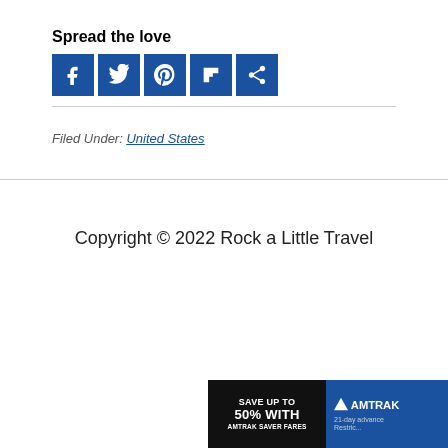Spread the love
[Figure (infographic): Row of five blue social media sharing icons: Facebook (f), Twitter (bird), Pinterest (P), Flipboard (F), and share (<)]
Filed Under: United States
Copyright © 2022 Rock a Little Travel
[Figure (photo): Amtrak advertisement banner: Save up to 50% with Amtrak Saver Fares. 21-day advance purchase required.]